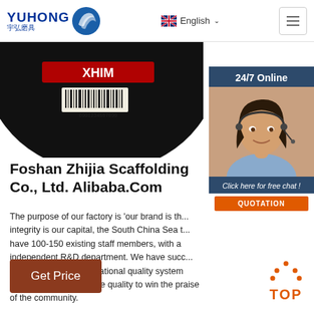[Figure (logo): Yuhong logo with Chinese characters 宇弘磨具 and a blue wave icon]
[Figure (screenshot): Navigation bar with English language selector and hamburger menu button]
[Figure (photo): Dark circular grinding disc product image with barcode and red branding]
[Figure (photo): 24/7 Online chat sidebar with woman wearing headset, Click here for free chat button, and QUOTATION orange button]
Foshan Zhijia Scaffolding Co., Ltd. Alibaba.Com
The purpose of our factory is 'our brand is the integrity is our capital, the South China Sea t... have 100-150 existing staff members, with a independent R&D department. We have succ... passed ISO9001 international quality system certification, with reliable quality to win the praise of the community.
[Figure (other): Get Price brown button]
[Figure (other): TOP back-to-top orange button with triangle dots icon]